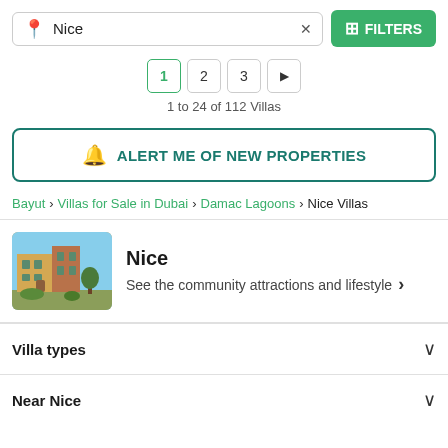Nice ×  [search box]  FILTERS
1  2  3  ▶
1 to 24 of 112 Villas
🔔 ALERT ME OF NEW PROPERTIES
Bayut > Villas for Sale in Dubai > Damac Lagoons > Nice Villas
[Figure (photo): Community card with building photo on left showing Mediterranean-style villas, title 'Nice', subtitle 'See the community attractions and lifestyle >']
Villa types ∨
Near Nice ∨